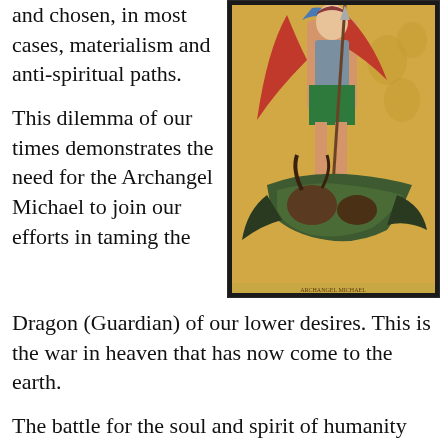and chosen, in most cases, materialism and anti-spiritual paths.
[Figure (illustration): Painting of Archangel Michael in armor with red cloak, standing triumphant over a defeated dragon/demon figure, with decorative golden background]
This dilemma of our times demonstrates the need for the Archangel Michael to join our efforts in taming the Dragon (Guardian) of our lower desires. This is the war in heaven that has now come to the earth.
The battle for the soul and spirit of humanity rages while materialists have no idea that the future is being fought in the thinking, feeling, and willing of each individual. Each soul is now challenged to find